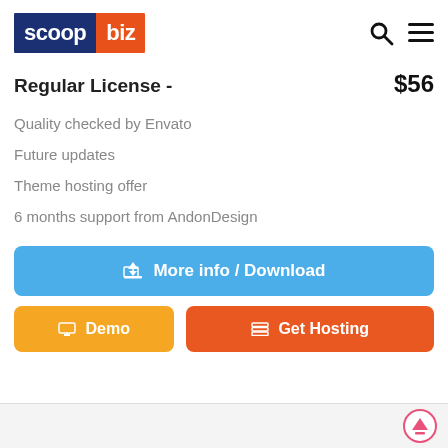[Figure (logo): scoop.biz logo — dark blue rectangle with 'scoop' in white, orange rectangle with 'biz' in white]
scoop.biz — search and menu icons
Regular License - $56
Quality checked by Envato
Future updates
Theme hosting offer
6 months support from AndonDesign
More info / Download
Demo
Get Hosting